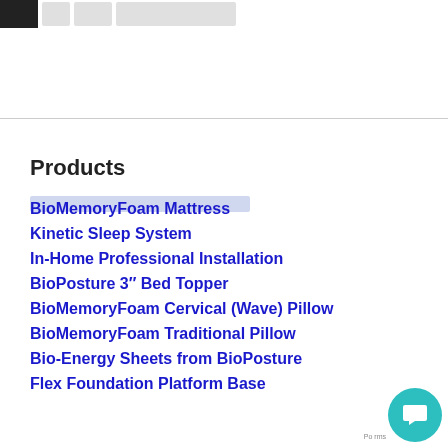[navigation bar with dark and light boxes]
Products
BioMemoryFoam Mattress
Kinetic Sleep System
In-Home Professional Installation
BioPosture 3″ Bed Topper
BioMemoryFoam Cervical (Wave) Pillow
BioMemoryFoam Traditional Pillow
Bio-Energy Sheets from BioPosture
Flex Foundation Platform Base